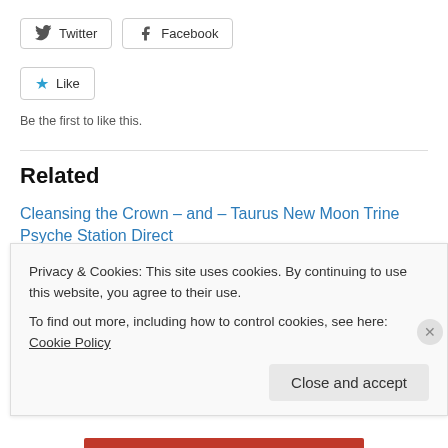[Figure (other): Twitter and Facebook share buttons]
[Figure (other): Like button with star icon]
Be the first to like this.
Related
Cleansing the Crown – and – Taurus New Moon Trine Psyche Station Direct
April 22, 2017
With 9 comments
Part 3 – Sun opposite Jupiter and Libra Full Moon
Privacy & Cookies: This site uses cookies. By continuing to use this website, you agree to their use.
To find out more, including how to control cookies, see here: Cookie Policy